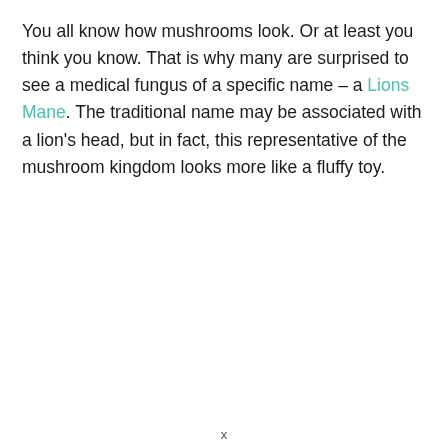You all know how mushrooms look. Or at least you think you know. That is why many are surprised to see a medical fungus of a specific name – a Lions Mane. The traditional name may be associated with a lion's head, but in fact, this representative of the mushroom kingdom looks more like a fluffy toy.
x